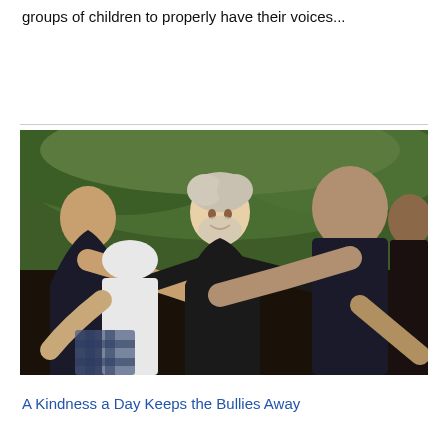groups of children to properly have their voices...
[Figure (photo): Group of people standing in a circle with arms around each other, including an older white-haired man smiling in the center, photographed outdoors with green trees in the background.]
A Kindness a Day Keeps the Bullies Away